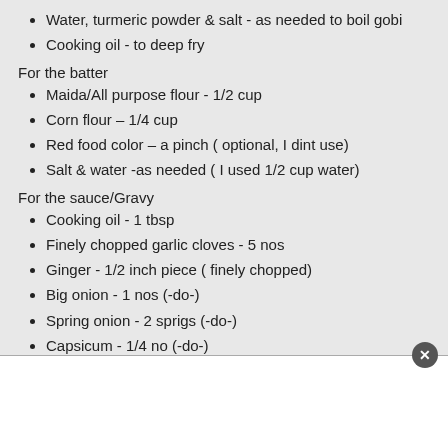Water, turmeric powder & salt - as needed to boil gobi
Cooking oil - to deep fry
For the batter
Maida/All purpose flour - 1/2 cup
Corn flour – 1/4 cup
Red food color – a pinch ( optional, I dint use)
Salt & water -as needed ( I used 1/2 cup water)
For the sauce/Gravy
Cooking oil - 1 tbsp
Finely chopped garlic cloves - 5 nos
Ginger - 1/2 inch piece ( finely chopped)
Big onion - 1 nos (-do-)
Spring onion - 2 sprigs (-do-)
Capsicum - 1/4 no (-do-)